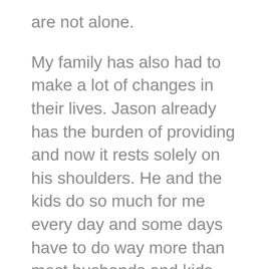are not alone.
My family has also had to make a lot of changes in their lives. Jason already has the burden of providing and now it rests solely on his shoulders. He and the kids do so much for me every day and some days have to do way more than most husbands and kids their age have to do. I hope they know how much I truly appreciate even the smallest things and that I love them more than they will ever know.
Thank you to all of you that continue to send prayers, encouraging messages, call to check on me and still ask me to do things, even if I end up having to say no or modify the plans.